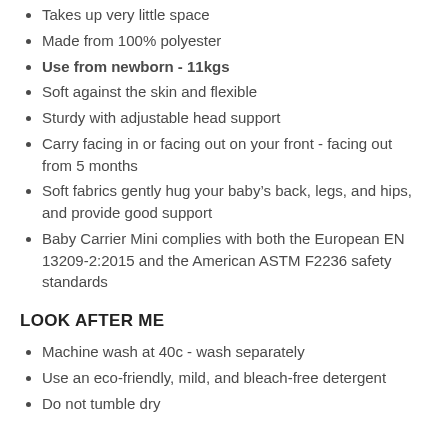Takes up very little space
Made from 100% polyester
Use from newborn - 11kgs
Soft against the skin and flexible
Sturdy with adjustable head support
Carry facing in or facing out on your front - facing out from 5 months
Soft fabrics gently hug your baby's back, legs, and hips, and provide good support
Baby Carrier Mini complies with both the European EN 13209-2:2015 and the American ASTM F2236 safety standards
LOOK AFTER ME
Machine wash at 40c - wash separately
Use an eco-friendly, mild, and bleach-free detergent
Do not tumble dry